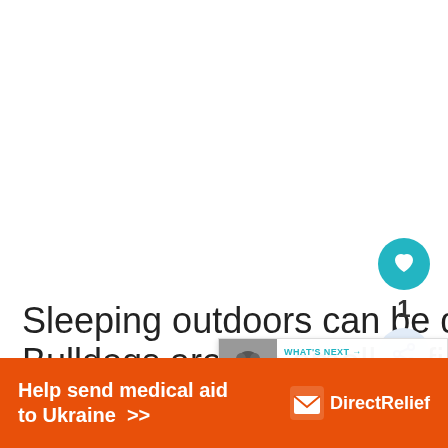Sleeping outdoors can be dangerous as Bulldogs are too small to fight off pr…
Do Bulldogs Like to Sleep with
[Figure (infographic): Teal circular heart/like button with white heart icon, like count '1' below, and a light blue circular share button below that]
[Figure (infographic): What's Next card with thumbnail image of a sloth/animal and text 'WHAT'S NEXT → Complete Australian...']
[Figure (infographic): Orange advertisement banner: 'Help send medical aid to Ukraine >>' with Direct Relief logo on the right]